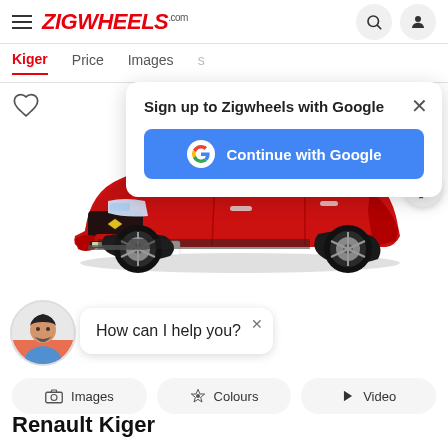ZIGWHEELS.com
Kiger  Price  Images
[Figure (screenshot): Sign up to Zigwheels with Google popup with Continue with Google button]
[Figure (photo): Red Renault Kiger SUV car with KIGER license plate, front-side view]
[Figure (illustration): Chat avatar with How can I help you? speech bubble]
Images  Colours  Video
Renault Kiger